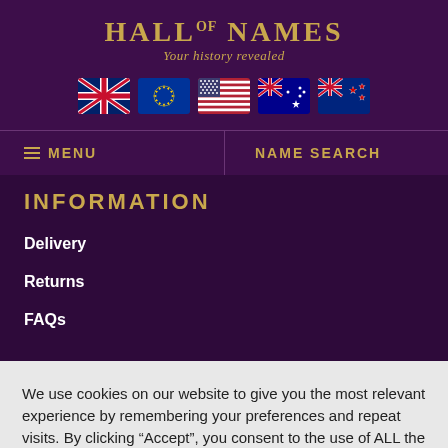HALL OF NAMES — Your history revealed
[Figure (illustration): Five country flag icons: UK, EU, USA, Australia, New Zealand]
MENU | NAME SEARCH
INFORMATION
Delivery
Returns
FAQs
We use cookies on our website to give you the most relevant experience by remembering your preferences and repeat visits. By clicking “Accept”, you consent to the use of ALL the cookies.
Cookie settings   ACCEPT